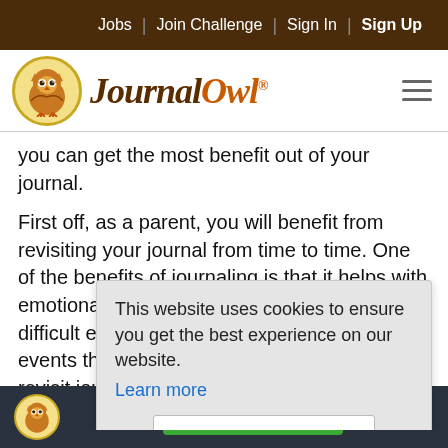Jobs | Join Challenge | Sign In | Sign Up
[Figure (logo): Journal Owl logo with owl icon and text]
you can get the most benefit out of your journal.
First off, as a parent, you will benefit from revisiting your journal from time to time. One of the benefits of journaling is that it helps with emotional awareness and processing of difficult events. In order to further process events that have happened, it's helpful to revisit journal entries several times and see how your reactions t
This website uses cookies to ensure you get the best experience on our website.
Learn more
Got it!